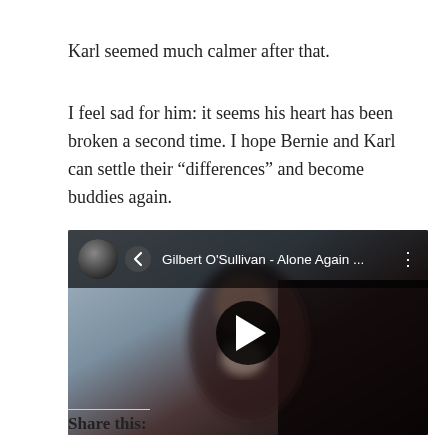Karl seemed much calmer after that.
I feel sad for him: it seems his heart has been broken a second time. I hope Bernie and Karl can settle their “differences” and become buddies again.
[Figure (screenshot): Embedded YouTube video player showing Gilbert O'Sullivan - Alone Again ... with a blurred video thumbnail of a person at a piano, a circular play button in the center, and the video title bar at the top.]
Share this: